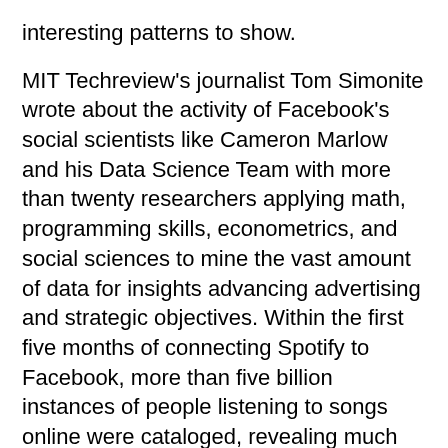interesting patterns to show.
MIT Techreview's journalist Tom Simonite wrote about the activity of Facebook's social scientists like Cameron Marlow and his Data Science Team with more than twenty researchers applying math, programming skills, econometrics, and social sciences to mine the vast amount of data for insights advancing advertising and strategic objectives. Within the first five months of connecting Spotify to Facebook, more than five billion instances of people listening to songs online were cataloged, revealing much about the preferences and feelings of users at different points in time.
The data Group also developed a way to calculate a country's “gross national happiness” from its Facebook activity by logging the occurrence of